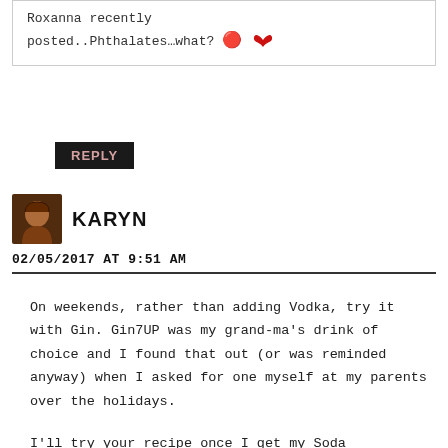Roxanna recently posted..Phthalates…what? 🦅
REPLY
[Figure (photo): Small avatar photo of Karyn, a person with reddish-brown hair]
KARYN
02/05/2017 AT 9:51 AM
On weekends, rather than adding Vodka, try it with Gin. Gin7UP was my grand-ma's drink of choice and I found that out (or was reminded anyway) when I asked for one myself at my parents over the holidays.

I'll try your recipe once I get my Soda